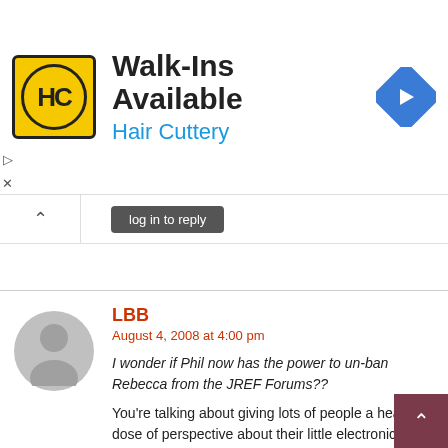[Figure (logo): Hair Cuttery advertisement banner with HC logo, 'Walk-Ins Available' heading, 'Hair Cuttery' subtext in blue, and a navigation/direction icon on the right]
LBB
August 4, 2008 at 4:00 pm
I wonder if Phil now has the power to un-ban Rebecca from the JREF Forums??
You're talking about giving lots of people a healthy dose of perspective about their little electronic fiefdom. No one can safely wield that amount of power.
And hey, congrats Phil.
Loading...